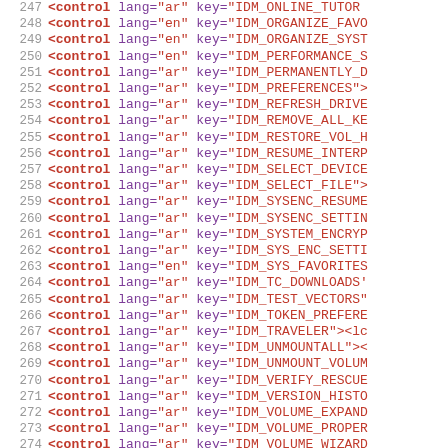Code listing lines 247-277 showing XML control elements with lang and key attributes
247  <control lang="ar" key="IDM_ONLINE_TUTOR
248  <control lang="en" key="IDM_ORGANIZE_FAVO
249  <control lang="en" key="IDM_ORGANIZE_SYST
250  <control lang="en" key="IDM_PERFORMANCE_S
251  <control lang="ar" key="IDM_PERMANENTLY_D
252  <control lang="ar" key="IDM_PREFERENCES">
253  <control lang="ar" key="IDM_REFRESH_DRIVE
254  <control lang="ar" key="IDM_REMOVE_ALL_KE
255  <control lang="ar" key="IDM_RESTORE_VOL_H
256  <control lang="ar" key="IDM_RESUME_INTERP
257  <control lang="ar" key="IDM_SELECT_DEVICE
258  <control lang="ar" key="IDM_SELECT_FILE">
259  <control lang="ar" key="IDM_SYSENC_RESUME
260  <control lang="ar" key="IDM_SYSENC_SETTIN
261  <control lang="ar" key="IDM_SYSTEM_ENCRYP
262  <control lang="ar" key="IDM_SYS_ENC_SETTI
263  <control lang="en" key="IDM_SYS_FAVORITES
264  <control lang="ar" key="IDM_TC_DOWNLOADS'
265  <control lang="ar" key="IDM_TEST_VECTORS"
266  <control lang="ar" key="IDM_TOKEN_PREFERE
267  <control lang="ar" key="IDM_TRAVELER"><lc
268  <control lang="ar" key="IDM_UNMOUNTALL"><
269  <control lang="ar" key="IDM_UNMOUNT_VOLUM
270  <control lang="ar" key="IDM_VERIFY_RESCUE
271  <control lang="ar" key="IDM_VERSION_HISTO
272  <control lang="ar" key="IDM_VOLUME_EXPAND
273  <control lang="ar" key="IDM_VOLUME_PROPER
274  <control lang="ar" key="IDM_VOLUME_WIZARD
275  <control lang="en" key="IDM_WEBSITE">
276  <control lang="ar" key="IDM_VOLUME_WIZARD
277  <control lang="en" key="IDM_WEBSITE">